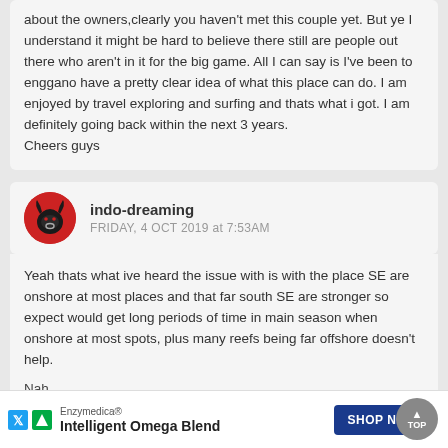about the owners,clearly you haven't met this couple yet. But ye I understand it might be hard to believe there still are people out there who aren't in it for the big game. All I can say is I've been to enggano have a pretty clear idea of what this place can do. I am enjoyed by travel exploring and surfing and thats what i got. I am definitely going back within the next 3 years.
Cheers guys
indo-dreaming
FRIDAY, 4 OCT 2019 at 7:53AM
Yeah thats what ive heard the issue with is with the place SE are onshore at most places and that far south SE are stronger so expect would get long periods of time in main season when onshore at most spots, plus many reefs being far offshore doesn't help.
Nah
Enzymedica®
Intelligent Omega Blend
SHOP NOW